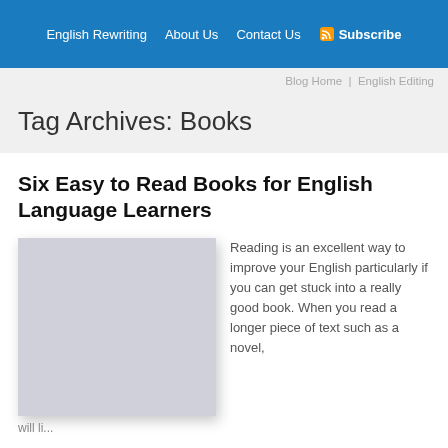English Rewriting   About Us   Contact Us   Subscribe
Blog Home   English Editing
Tag Archives: Books
Six Easy to Read Books for English Language Learners
[Figure (photo): Image placeholder for book-related photo]
Reading is an excellent way to improve your English particularly if you can get stuck into a really good book. When you read a longer piece of text such as a novel,
will li...